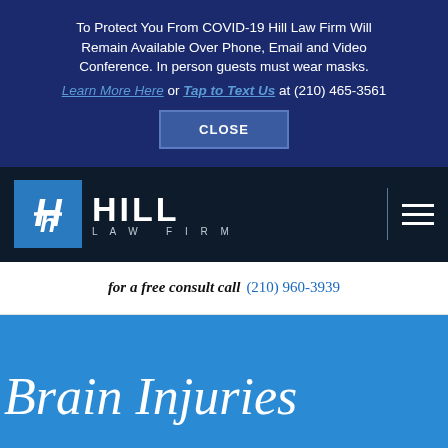To Protect You From COVID-19 Hill Law Firm Will Remain Available Over Phone, Email and Video Conference. In person guests must wear masks. Learn More Here or Tap to Text Us at (210) 465-3561
CLOSE
[Figure (logo): Hill Law Firm logo with blue square icon and white HILL LAW FIRM text on dark navy background, with hamburger menu]
for a free consult call (210) 960-3939
Brain Injuries
FREE CONSULTATION HERE